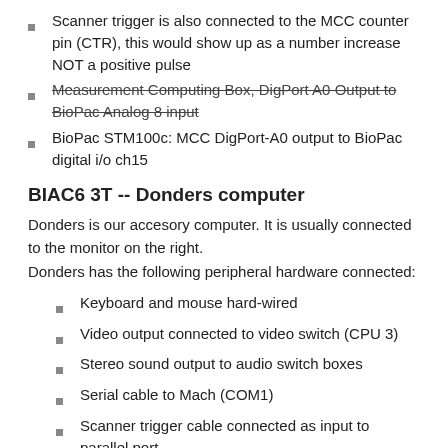Scanner trigger is also connected to the MCC counter pin (CTR), this would show up as a number increase NOT a positive pulse
Measurement Computing Box, DigPort A0 Output to BioPac Analog 8 input (strikethrough)
BioPac STM100c: MCC DigPort-A0 output to BioPac digital i/o ch15
BIAC6 3T -- Donders computer
Donders is our accesory computer. It is usually connected to the monitor on the right.
Donders has the following peripheral hardware connected:
Keyboard and mouse hard-wired
Video output connected to video switch (CPU 3)
Stereo sound output to audio switch boxes
Serial cable to Mach (COM1)
Scanner trigger cable connected as input to parallel port